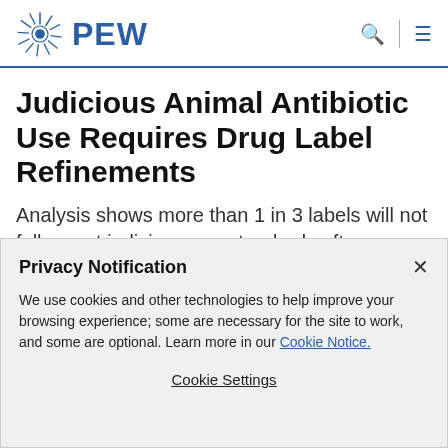PEW
Judicious Animal Antibiotic Use Requires Drug Label Refinements
Analysis shows more than 1 in 3 labels will not fully meet judicious use standards after implementation of FDA policy
Privacy Notification
We use cookies and other technologies to help improve your browsing experience; some are necessary for the site to work, and some are optional. Learn more in our Cookie Notice.
Cookie Settings